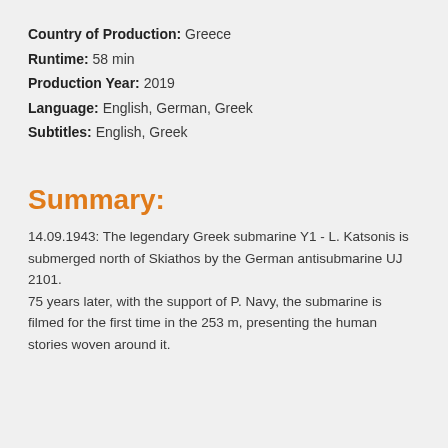Country of Production: Greece
Runtime: 58 min
Production Year: 2019
Language: English, German, Greek
Subtitles: English, Greek
Summary:
14.09.1943: The legendary Greek submarine Y1 - L. Katsonis is submerged north of Skiathos by the German antisubmarine UJ 2101.
75 years later, with the support of P. Navy, the submarine is filmed for the first time in the 253 m, presenting the human stories woven around it.